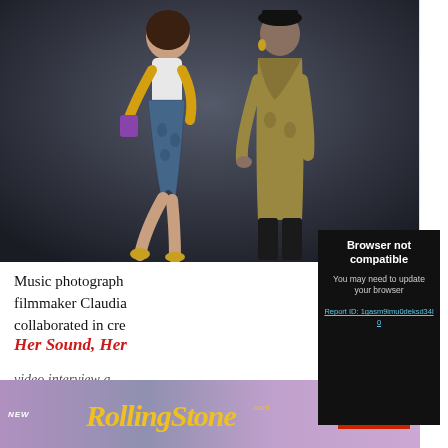[Figure (photo): Two women posing against a dark gray/charcoal background. One woman on the left wears a blue patterned mini dress with yellow gloves and gold shoes, posing dynamically with one leg raised. The other woman on the right wears a gold/metallic jacket with black pants and a black hat, standing more upright.]
Music photograph filmmaker Claudia collaborated in cr
Her Sound, Her
video interview a
[Figure (screenshot): Browser not compatible modal overlay with dark background. Title: 'Browser not compatible'. Subtitle: 'You may need to update your browser'. Link: 'Report ID: 1gasm9imu0deksd34l0'. Close button 'X' in upper right corner.]
[Figure (other): Rolling Stone magazine advertisement banner. Purple/lavender gradient background. Text on left: 'NEW' in small italic white, followed by large yellow cursive 'RollingStone' logo with '.com' in small text. Right side: 'ON SALE SEP 5' in white uppercase small text, and a red 'SUBSCRIBE' button.]